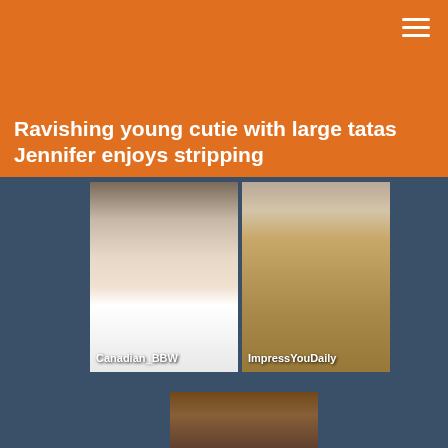Ravishing young cutie with large tatas Jennifer enjoys stripping
[Figure (photo): Two thumbnail images side by side: left shows a woman in a white shirt with long brown hair seated on a dark couch, labeled 'Canadian_BBW'; right shows a woman in a leopard print dress, labeled 'ImpressYouDaily']
[Figure (photo): Partial thumbnail of a third image at the bottom of the page, partially cut off]